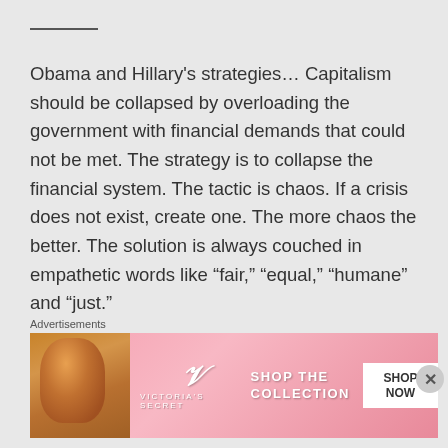Obama and Hillary's strategies… Capitalism should be collapsed by overloading the government with financial demands that could not be met. The strategy is to collapse the financial system. The tactic is chaos. If a crisis does not exist, create one. The more chaos the better. The solution is always couched in empathetic words like “fair,” “equal,” “humane” and “just.”
Advertisements
[Figure (photo): Victoria's Secret advertisement banner with a model photo on the left, VS logo in the center, and 'SHOP THE COLLECTION / SHOP NOW' text on the right with a white button.]